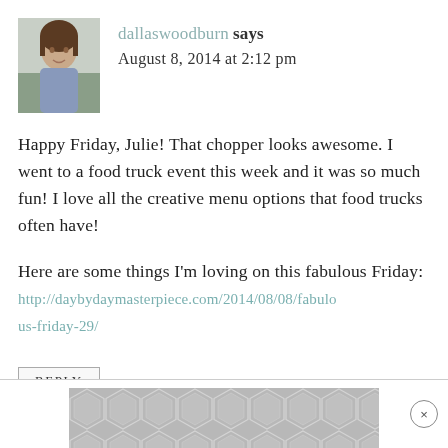[Figure (photo): Avatar photo of a woman with light skin and dark hair outdoors]
dallaswoodburn says
August 8, 2014 at 2:12 pm
Happy Friday, Julie! That chopper looks awesome. I went to a food truck event this week and it was so much fun! I love all the creative menu options that food trucks often have!

Here are some things I'm loving on this fabulous Friday:
http://daybydaymasterpiece.com/2014/08/08/fabulous-friday-29/
REPLY
[Figure (other): Gray geometric hexagon pattern advertisement banner with close button]